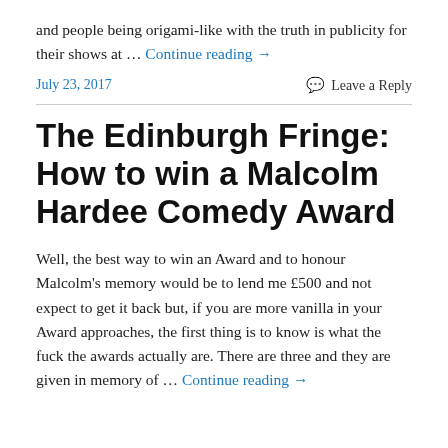and people being origami-like with the truth in publicity for their shows at … Continue reading →
July 23, 2017   Leave a Reply
The Edinburgh Fringe: How to win a Malcolm Hardee Comedy Award
Well, the best way to win an Award and to honour Malcolm's memory would be to lend me £500 and not expect to get it back but, if you are more vanilla in your Award approaches, the first thing is to know is what the fuck the awards actually are. There are three and they are given in memory of … Continue reading →